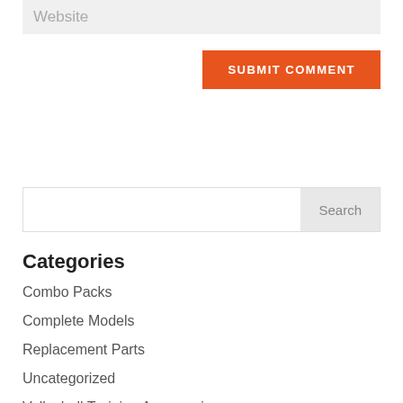Website
SUBMIT COMMENT
Search
Categories
Combo Packs
Complete Models
Replacement Parts
Uncategorized
Volleyball Training Accessories